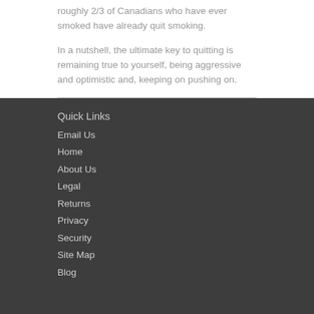roughly 2/3 of Canadians who have ever smoked have already quit smoking.
In a nutshell, the ultimate key to quitting is remaining true to yourself, being aggressive and optimistic and, keeping on pushing on.
Quick Links
Email Us
Home
About Us
Legal
Returns
Privacy
Security
Site Map
Blog